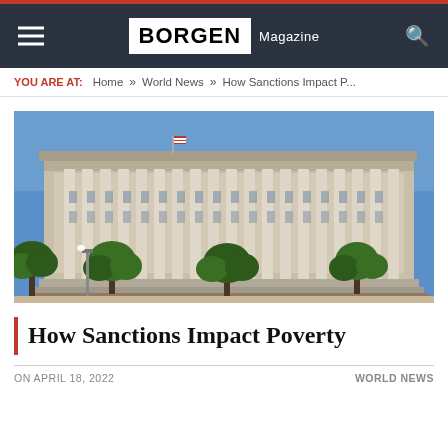BORGEN Magazine
YOU ARE AT: Home » World News » How Sanctions Impact P...
[Figure (photo): Exterior photograph of a large neoclassical government building with tall columns, trees in the foreground, and a blue sky background. An American flag is visible on the rooftop.]
How Sanctions Impact Poverty
ON APRIL 18, 2022   WORLD NEWS